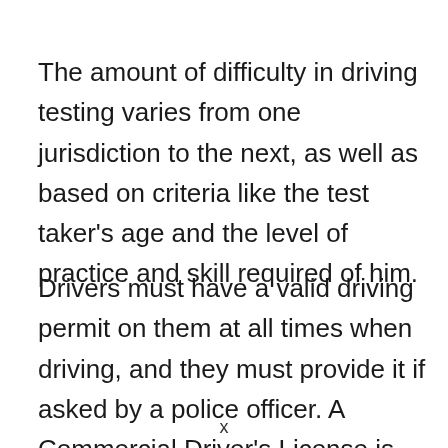The amount of difficulty in driving testing varies from one jurisdiction to the next, as well as based on criteria like the test taker's age and the level of practice and skill required of him.
Drivers must have a valid driving permit on them at all times when driving, and they must provide it if asked by a police officer. A Commercial Driver's License is good for
x